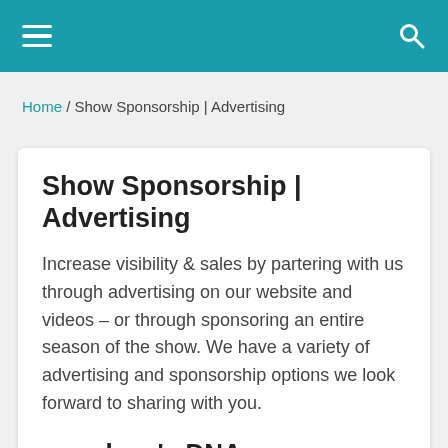≡  🔍
Home / Show Sponsorship | Advertising
Show Sponsorship | Advertising
Increase visibility & sales by partering with us through advertising on our website and videos – or through sponsoring an entire season of the show. We have a variety of advertising and sponsorship options we look forward to sharing with you.
our show's DNA